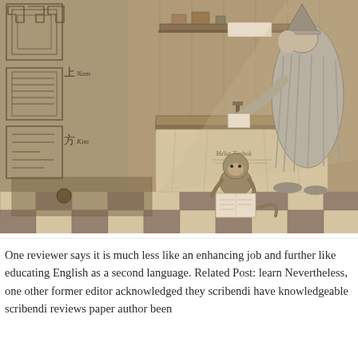[Figure (illustration): A historical engraving depicting a robed scholar or magician standing at a draped table, examining something, with a monkey sitting beneath the table reading a document. On the left wall are panels with Chinese or decorative characters and maze-like patterns. The floor is checkered. A shelf with objects is on the wall behind. The scene has a sepia/grayscale tone typical of 17th-18th century European engravings.]
One reviewer says it is much less like an enhancing job and further like educating English as a second language. Related Post: learn Nevertheless, one other former editor acknowledged they scribendi have knowledgeable scribendi reviews paper author been